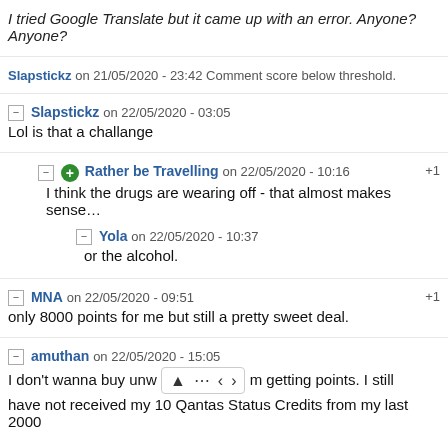I tried Google Translate but it came up with an error. Anyone? Anyone?
Slapstickz on 21/05/2020 - 23:42 Comment score below threshold.
Slapstickz on 22/05/2020 - 03:05
Lol is that a challange
Rather be Travelling on 22/05/2020 - 10:16 +1
I think the drugs are wearing off - that almost makes sense…
Yola on 22/05/2020 - 10:37
or the alcohol.
MNA on 22/05/2020 - 09:51 +1
only 8000 points for me but still a pretty sweet deal.
amuthan on 22/05/2020 - 15:05
I don't wanna buy unw[navigation bar]m getting points. I still have not received my 10 Qantas Status Credits from my last 2000